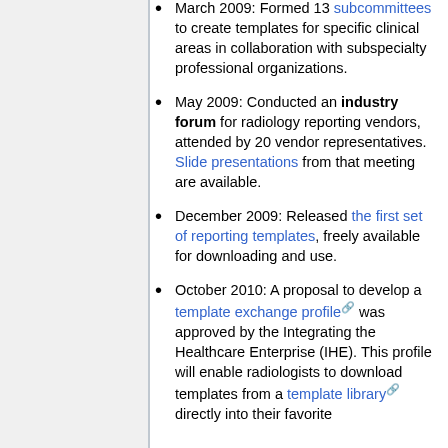March 2009: Formed 13 subcommittees to create templates for specific clinical areas in collaboration with subspecialty professional organizations.
May 2009: Conducted an industry forum for radiology reporting vendors, attended by 20 vendor representatives. Slide presentations from that meeting are available.
December 2009: Released the first set of reporting templates, freely available for downloading and use.
October 2010: A proposal to develop a template exchange profile was approved by the Integrating the Healthcare Enterprise (IHE). This profile will enable radiologists to download templates from a template library directly into their favorite